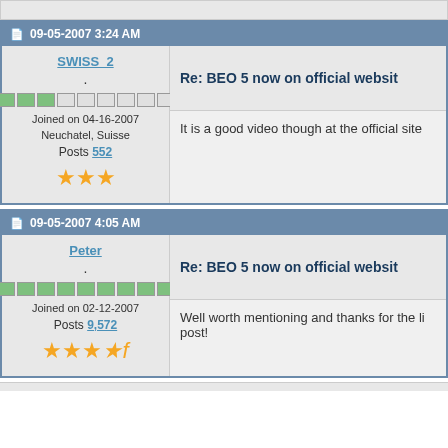09-05-2007 3:24 AM
Re: BEO 5 now on official websit
SWISS_2
Joined on 04-16-2007
Neuchatel, Suisse
Posts 552
It is a good video though at the official site
09-05-2007 4:05 AM
Re: BEO 5 now on official websit
Peter
Joined on 02-12-2007
Posts 9,572
Well worth mentioning and thanks for the li post!